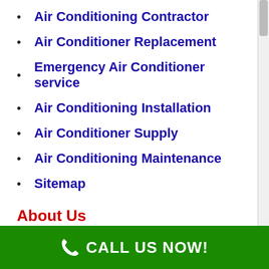Air Conditioning Contractor
Air Conditioner Replacement
Emergency Air Conditioner service
Air Conditioning Installation
Air Conditioner Supply
Air Conditioning Maintenance
Sitemap
About Us
Air Conditioning Pros of Athens has been offering the Athens location with high quality AC Fixing Solution for over 40 years, and have hundreds of completely satisfied clients. All AC repair is 100%
CALL US NOW!